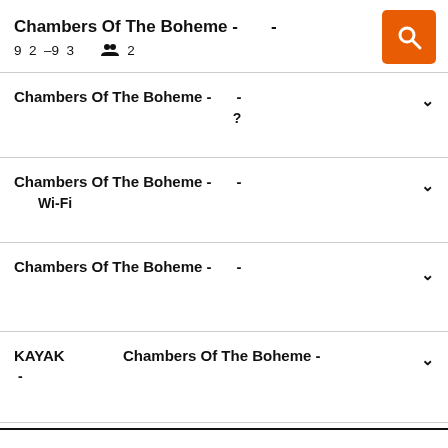Chambers Of The Boheme - -
9 2 —9 3   👥 2
Chambers Of The Boheme - -
?
Chambers Of The Boheme - -
Wi-Fi
Chambers Of The Boheme - -
KAYAK   Chambers Of The Boheme -
-